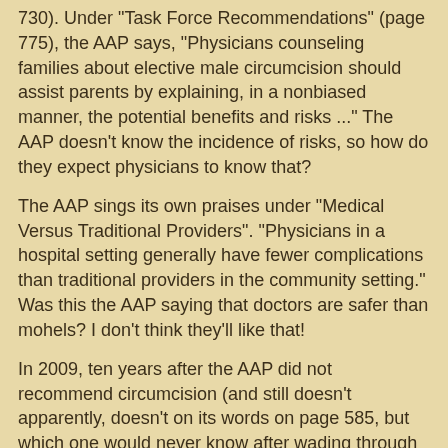730). Under "Task Force Recommendations" (page 775), the AAP says, "Physicians counseling families about elective male circumcision should assist parents by explaining, in a nonbiased manner, the potential benefits and risks ..." The AAP doesn't know the incidence of risks, so how do they expect physicians to know that?
The AAP sings its own praises under "Medical Versus Traditional Providers". "Physicians in a hospital setting generally have fewer complications than traditional providers in the community setting." Was this the AAP saying that doctors are safer than mohels? I don't think they'll like that!
In 2009, ten years after the AAP did not recommend circumcision (and still doesn't apparently, doesn't on its words on page 585, but which one would never know after wading through this rubbish), their own survey of AAP members found that "18% responded recommending to all or most of their patients' parents that circumcision be performed." (page 776) I don't find that surprising that AAP doctors would recommend a surgery that means more money for them. On pages 777-778 the AAP wants to know about the effectiveness of the issue 2012 statement in